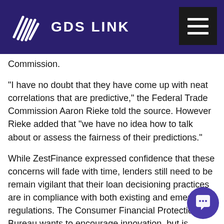GDS LINK
Commission.
"I have no doubt that they have come up with neat correlations that are predictive," the Federal Trade Commission Aaron Rieke told the source. However Rieke added that "we have no idea how to talk about or assess the fairness of their predictions."
While ZestFinance expressed confidence that these concerns will fade with time, lenders still need to be remain vigilant that their loan decisioning practices are in compliance with both existing and emerging regulations. The Consumer Financial Protection Bureau wants to encourage innovation, but is monitoring these underwriting solutions carefully, according to Patrice A. Ficklin, head of its fair